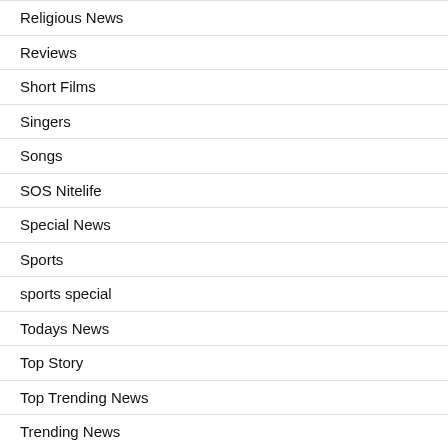Religious News
Reviews
Short Films
Singers
Songs
SOS Nitelife
Special News
Sports
sports special
Todays News
Top Story
Top Trending News
Trending News